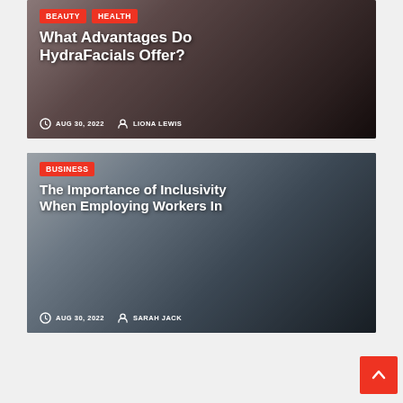[Figure (photo): Woman getting a facial/beauty treatment, lying back with eyes closed, dark moody background. Overlaid with article card.]
What Advantages Do HydraFacials Offer?
AUG 30, 2022  LIONA LEWIS
[Figure (photo): Business meeting room with large windows, people seated around a conference table. Overlaid with article card.]
The Importance of Inclusivity When Employing Workers In
AUG 30, 2022  SARAH JACK